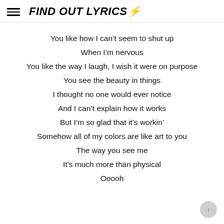FIND OUT LYRICS⚡
You like how I can't seem to shut up
When I'm nervous
You like the way I laugh, I wish it were on purpose
You see the beauty in things
I thought no one would ever notice
And I can't explain how it works
But I'm so glad that it's workin'
Somehow all of my colors are like art to you
The way you see me
It's much more than physical
Ooooh